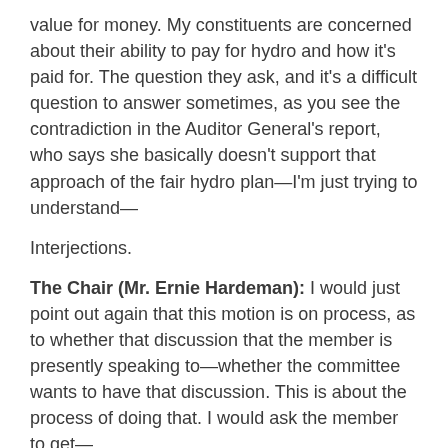value for money. My constituents are concerned about their ability to pay for hydro and how it's paid for. The question they ask, and it's a difficult question to answer sometimes, as you see the contradiction in the Auditor General's report, who says she basically doesn't support that approach of the fair hydro plan—I'm just trying to understand—
Interjections.
The Chair (Mr. Ernie Hardeman): I would just point out again that this motion is on process, as to whether that discussion that the member is presently speaking to—whether the committee wants to have that discussion. This is about the process of doing that. I would ask the member to get—
Interjection.
The Chair (Mr. Ernie Hardeman): The auditor wants to